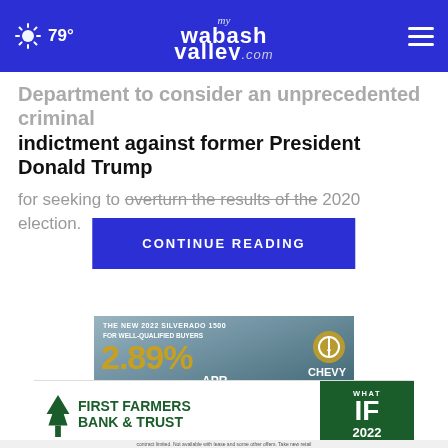myWabashValley.com — 79°
Department to consider an unprecedented criminal indictment against former President Donald Trump
for seeking to overturn the results of the 2020 election.
CONTINUE READING
[Figure (photo): Chevrolet Silverado 1500 advertisement showing 2.89% APR for well-qualified buyers, Chevy Open Road promotion, with red truck towing a boat near water]
[Figure (logo): First Farmers Bank & Trust advertisement with 'What IF 2022' green banner]